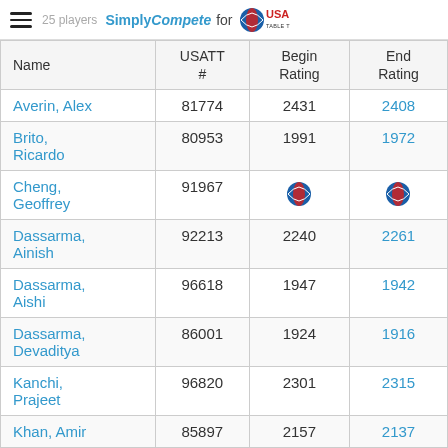SimplyCompete for USA Table Tennis — 25 players
| Name | USATT # | Begin Rating | End Rating |
| --- | --- | --- | --- |
| Averin, Alex | 81774 | 2431 | 2408 |
| Brito, Ricardo | 80953 | 1991 | 1972 |
| Cheng, Geoffrey | 91967 | [logo] | [logo] |
| Dassarma, Ainish | 92213 | 2240 | 2261 |
| Dassarma, Aishi | 96618 | 1947 | 1942 |
| Dassarma, Devaditya | 86001 | 1924 | 1916 |
| Kanchi, Prajeet | 96820 | 2301 | 2315 |
| Khan, Amir | 85897 | 2157 | 2137 |